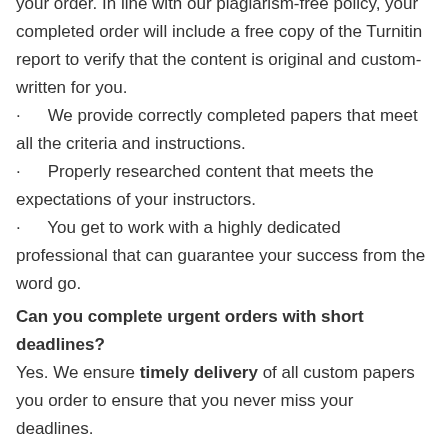your order. In line with our plagiarism-free policy, your completed order will include a free copy of the Turnitin report to verify that the content is original and custom-written for you.
We provide correctly completed papers that meet all the criteria and instructions.
Properly researched content that meets the expectations of your instructors.
You get to work with a highly dedicated professional that can guarantee your success from the word go.
Can you complete urgent orders with short deadlines?
Yes. We ensure timely delivery of all custom papers you order to ensure that you never miss your deadlines.
How can I get in touch?
Contact us any time via WhatsApp, live chat, or